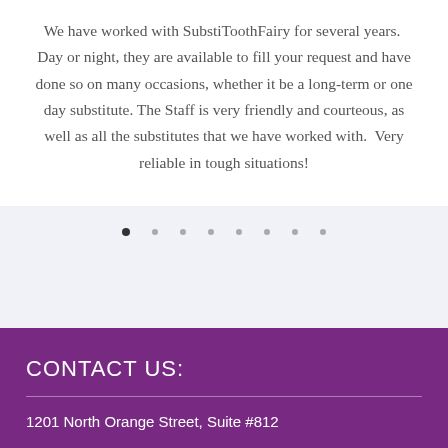We have worked with SubstiToothFairy for several years.  Day or night, they are available to fill your request and have done so on many occasions, whether it be a long-term or one day substitute.  The Staff is very friendly and courteous, as well as all the substitutes that we have worked with.  Very reliable in tough situations!
[Figure (other): Carousel pagination dots — 8 dots in a row, first dot darker/active, rest lighter]
CONTACT US:
1201 North Orange Street, Suite #812